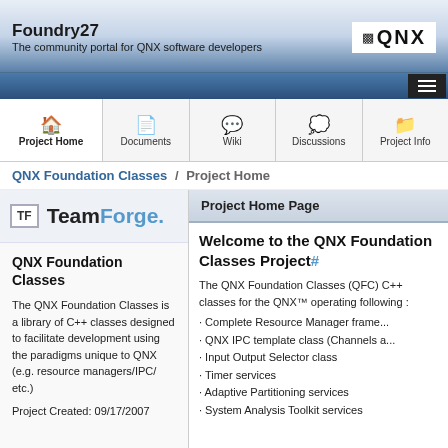Foundry27 - The community portal for QNX software developers
Project Home | Documents | Wiki | Discussions | Project Info
QNX Foundation Classes / Project Home
[Figure (logo): TeamForge logo with TF icon]
QNX Foundation Classes
The QNX Foundation Classes is a library of C++ classes designed to facilitate development using the paradigms unique to QNX (e.g. resource managers/IPC/ etc.)
Project Created: 09/17/2007
Project Home Page
Welcome to the QNX Foundation Classes Project#
The QNX Foundation Classes (QFC) C++ classes for the QNX™ operating following :
· Complete Resource Manager framework
· QNX IPC template class (Channels and connections)
· Input Output Selector class
· Timer services
· Adaptive Partitioning services
· System Analysis Toolkit services